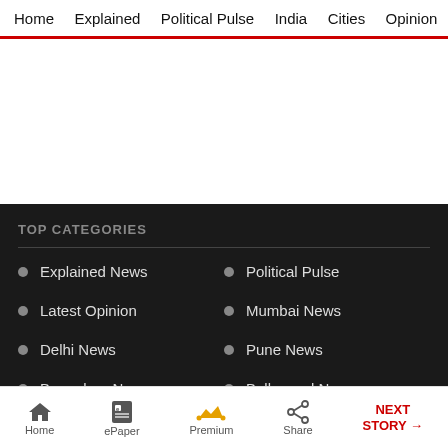Home  Explained  Political Pulse  India  Cities  Opinion  Entertainment
TOP CATEGORIES
Explained News
Political Pulse
Latest Opinion
Mumbai News
Delhi News
Pune News
Bangalore News
Bollywood News
Home  ePaper  Premium  Share  NEXT STORY →